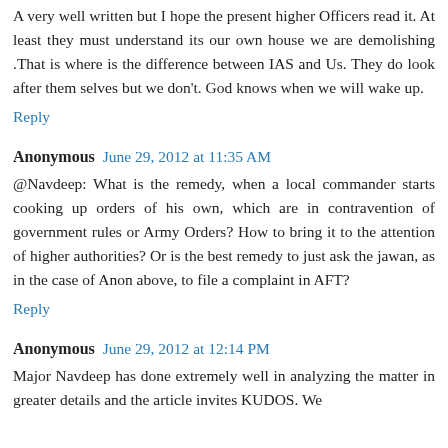A very well written but I hope the present higher Officers read it. At least they must understand its our own house we are demolishing .That is where is the difference between IAS and Us. They do look after them selves but we don't. God knows when we will wake up.
Reply
Anonymous  June 29, 2012 at 11:35 AM
@Navdeep: What is the remedy, when a local commander starts cooking up orders of his own, which are in contravention of government rules or Army Orders? How to bring it to the attention of higher authorities? Or is the best remedy to just ask the jawan, as in the case of Anon above, to file a complaint in AFT?
Reply
Anonymous  June 29, 2012 at 12:14 PM
Major Navdeep has done extremely well in analyzing the matter in greater details and the article invites KUDOS. We